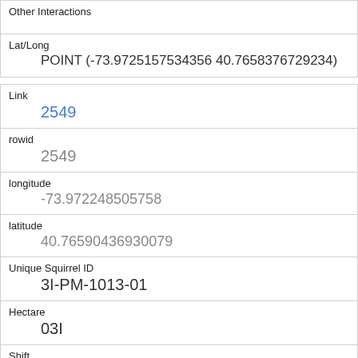| Other Interactions |  |
| Lat/Long | POINT (-73.9725157534356 40.7658376729234) |
| Link | 2549 |
| rowid | 2549 |
| longitude | -73.972248505758 |
| latitude | 40.76590436930079 |
| Unique Squirrel ID | 3I-PM-1013-01 |
| Hectare | 03I |
| Shift | PM |
| Date | 10132018 |